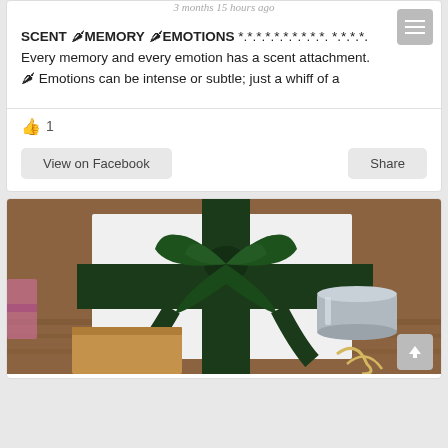3 months 15 hours ago
SCENT 🌶 MEMORY 🌶 EMOTIONS *.*.*.*.*.*.*.*.*.*. *.*.*.*. Every memory and every emotion has a scent attachment. 🌶 Emotions can be intense or subtle; just a whiff of a
👍 1
View on Facebook
Share
[Figure (photo): Wrapped gift box with dark green satin ribbon and bow, alongside a silver cylindrical container and a brown kraft paper box, on a wooden surface]